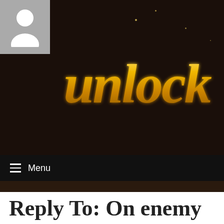[Figure (logo): Dark brown background banner with ornate golden calligraphic/decorative logo text. A grey avatar/person placeholder icon appears in the top-left corner.]
≡  Menu
Reply To: On enemy